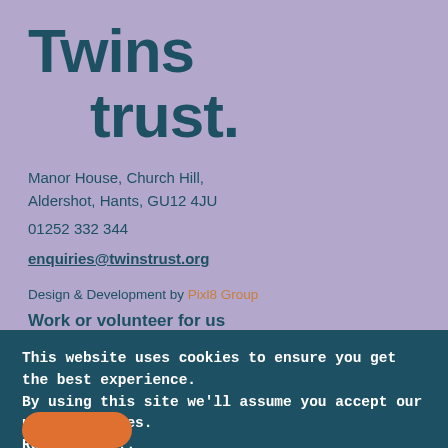Twins trust.
Manor House, Church Hill,
Aldershot, Hants, GU12 4JU
01252 332 344
enquiries@twinstrust.org
Design & Development by Pixl8 Group
Work or volunteer for us
This website uses cookies to ensure you get the best experience. By using this site we'll assume you accept our use of cookies. Read more ...